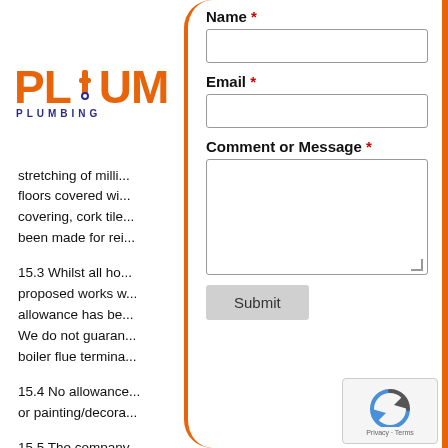[Figure (logo): PLUM plumbing company logo with orange text and blue PLUMBING subtext]
stretching of milli... floors covered wi... covering, cork tile... been made for rei...
15.3 Whilst all ho... proposed works w... allowance has be... We do not guaran... boiler flue termina...
15.4 No allowance... or painting/decora...
15.5 The company... frozen pipes that have been attended to by the company and
Name *
Email *
Comment or Message *
Submit